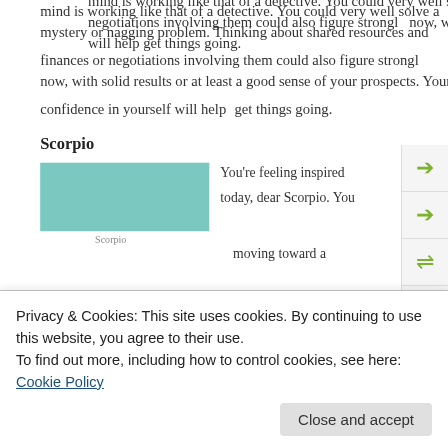mind is working like that of a detective. You could very well solve a mystery or nagging problem. Thinking about shared resources and finances or negotiations involving them could also figure strongly now, with solid results or at least a good sense of your prospects. Your confidence in yourself will help get things going.
Scorpio
[Figure (photo): Teal/turquoise colored image placeholder for Scorpio horoscope]
You're feeling inspired today, dear Scorpio. You moving toward a
Privacy & Cookies: This site uses cookies. By continuing to use this website, you agree to their use. To find out more, including how to control cookies, see here: Cookie Policy
Close and accept